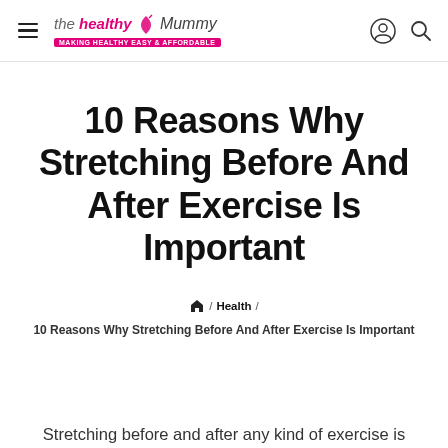the healthy Mummy — Making healthy EASY & AFFORDABLE
10 Reasons Why Stretching Before And After Exercise Is Important
🏠 / Health / 10 Reasons Why Stretching Before And After Exercise Is Important
Stretching before and after any kind of exercise is